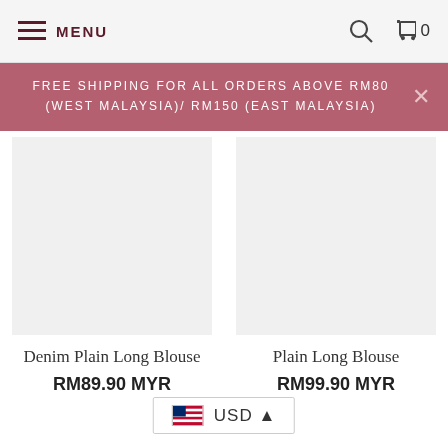MENU  🔍  🛒 0
FREE SHIPPING FOR ALL ORDERS ABOVE RM80 (WEST MALAYSIA)/ RM150 (EAST MALAYSIA)
Denim Plain Long Blouse
RM89.90 MYR
Plain Long Blouse
RM99.90 MYR
USD